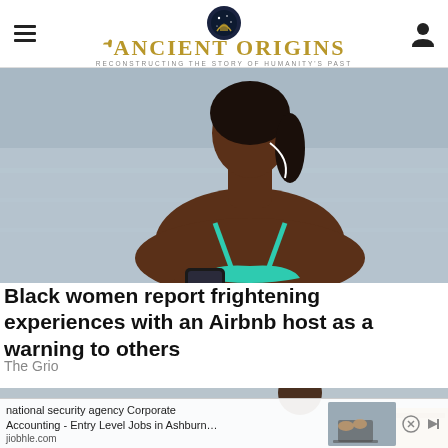Ancient Origins — Reconstructing the Story of Humanity's Past
[Figure (photo): A Black woman wearing a teal bikini top, holding a smartphone, standing near a body of water outdoors.]
Black women report frightening experiences with an Airbnb host as a warning to others
The Grio
[Figure (photo): Partial view of a second article image, obscured by an advertisement overlay showing a person near a laptop.]
national security agency Corporate Accounting - Entry Level Jobs in Ashburn… jiobhle.com